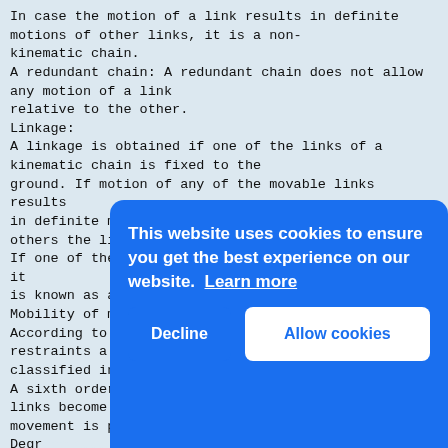In case the motion of a link results in definite motions of other links, it is a non-kinematic chain.
A redundant chain: A redundant chain does not allow any motion of a link relative to the other.
Linkage:
A linkage is obtained if one of the links of a kinematic chain is fixed to the ground. If motion of any of the movable links results in definite motions of the others the linkage is known as a mechanism.
If one of the links of a redundant chain is fixed, it is known as a structure.
Mobility of mechanisms:
According to the number of general or common restraints a mechanism may be classified into different order.
A sixth order mechanism cannot exist since all the links become stationary and no movement is possible.
Degr[ee of freedom is used to] dete[rmine...]
Let
N =
F =
P1 =
P2 =
In m[echanisms]
Numb[er of...]
6(N-
degree of freedom imposes 5 restraints on the
[Figure (screenshot): Cookie consent banner overlay (blue background) with text 'This website uses cookies to ensure you get the best experience on our website. Learn more' and two buttons: 'Decline' and 'Allow cookies']